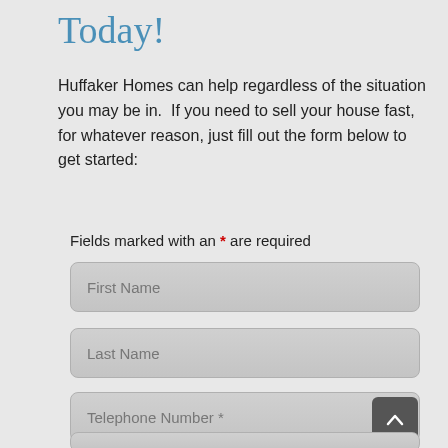Today!
Huffaker Homes can help regardless of the situation you may be in.  If you need to sell your house fast, for whatever reason, just fill out the form below to get started:
Fields marked with an * are required
First Name
Last Name
Telephone Number *